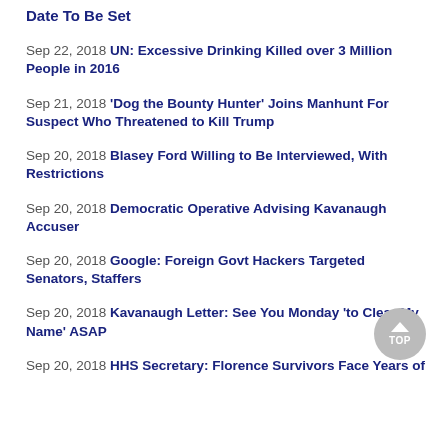Date To Be Set
Sep 22, 2018 UN: Excessive Drinking Killed over 3 Million People in 2016
Sep 21, 2018 'Dog the Bounty Hunter' Joins Manhunt For Suspect Who Threatened to Kill Trump
Sep 20, 2018 Blasey Ford Willing to Be Interviewed, With Restrictions
Sep 20, 2018 Democratic Operative Advising Kavanaugh Accuser
Sep 20, 2018 Google: Foreign Govt Hackers Targeted Senators, Staffers
Sep 20, 2018 Kavanaugh Letter: See You Monday 'to Clear My Name' ASAP
Sep 20, 2018 HHS Secretary: Florence Survivors Face Years of